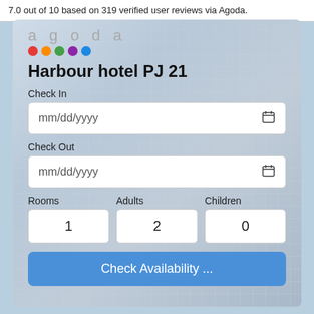7.0 out of 10 based on 319 verified user reviews via Agoda.
[Figure (screenshot): Agoda hotel booking widget for Harbour hotel PJ 21, showing Check In and Check Out date fields (mm/dd/yyyy), Rooms (1), Adults (2), Children (0) fields, and a Check Availability button, overlaid on a hotel building background image with Agoda logo.]
Harbour hotel PJ 21
Check In
mm/dd/yyyy
Check Out
mm/dd/yyyy
Rooms
Adults
Children
1
2
0
Check Availability ...